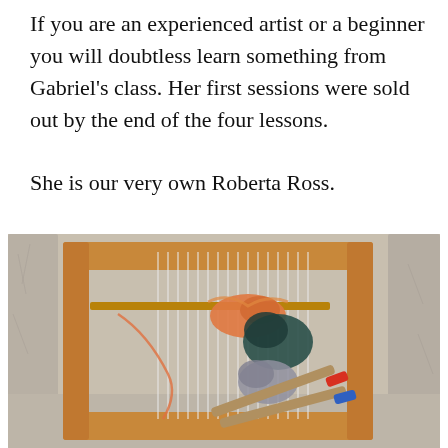If you are an experienced artist or a beginner you will doubtless learn something from Gabriel's class. Her first sessions were sold out by the end of the four lessons.

She is our very own Roberta Ross.
[Figure (photo): A wooden weaving loom photographed from above, resting on a furry white/grey surface. The loom holds vertical white warp threads. Several colorful yarn bundles (orange, teal/dark green, light grey) and wooden weaving shuttles (one with a red tip, one with a blue tip) are visible on and around the loom.]